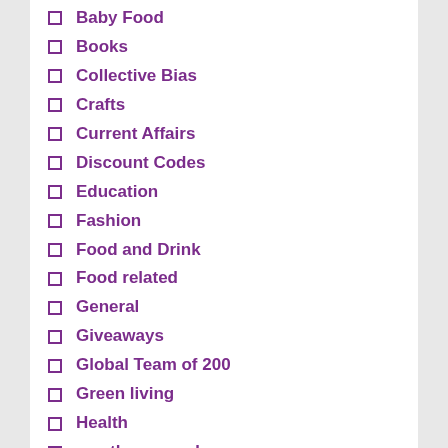Baby Food
Books
Collective Bias
Crafts
Current Affairs
Discount Codes
Education
Fashion
Food and Drink
Food related
General
Giveaways
Global Team of 200
Green living
Health
meatless monday
Media Events
Misc.
momtrends
Movies
Music
NY